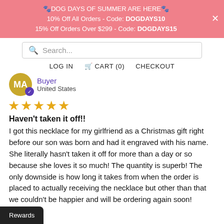🐾DOG DAYS OF SUMMER ARE HERE🐾
10% Off All Orders - Code: DOGDAYS10
15% Off Orders Over $299 - Code: DOGDAYS15
Search...
LOG IN  🛒 CART (0)  CHECKOUT
Buyer
United States
★★★★★
Haven't taken it off!!
I got this necklace for my girlfriend as a Christmas gift right before our son was born and had it engraved with his name. She literally hasn't taken it off for more than a day or so because she loves it so much! The quantity is superb! The only downside is how long it takes from when the order is placed to actually receiving the necklace but other than that we couldn't be happier and will be ordering again soon!
Rewards